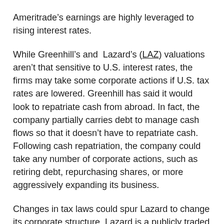Ameritrade's earnings are highly leveraged to rising interest rates.
While Greenhill's and Lazard's (LAZ) valuations aren't that sensitive to U.S. interest rates, the firms may take some corporate actions if U.S. tax rates are lowered. Greenhill has said it would look to repatriate cash from abroad. In fact, the company partially carries debt to manage cash flows so that it doesn't have to repatriate cash. Following cash repatriation, the company could take any number of corporate actions, such as retiring debt, repurchasing shares, or more aggressively expanding its business.
Changes in tax laws could spur Lazard to change its corporate structure. Lazard is a publicly traded partnership, which keeps some investors at bay as they